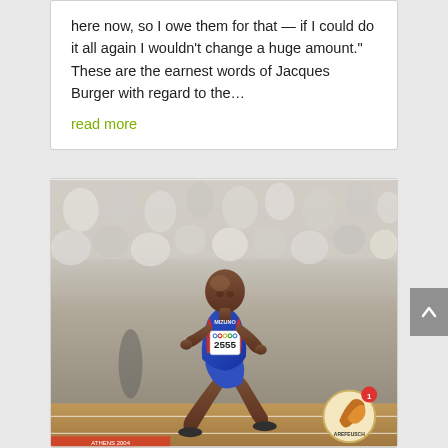here now, so I owe them for that — if I could do it all again I wouldn't change a huge amount."   These are the earnest words of Jacques Burger with regard to the...
read more
[Figure (photo): A male sprinter wearing a blue and red Mizuno athletic uniform with bib number 2555 and Athens 2004 Olympic Games logo, running on a track in front of a large crowd of spectators. A small circular logo/badge overlay with 'AREFEUSCH' text and a notification badge showing '1' appears in the bottom right corner of the image.]